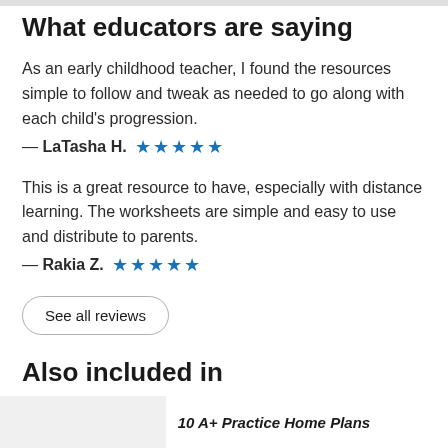What educators are saying
As an early childhood teacher, I found the resources simple to follow and tweak as needed to go along with each child's progression.
— LaTasha H. ★★★★★
This is a great resource to have, especially with distance learning. The worksheets are simple and easy to use and distribute to parents.
— Rakia Z. ★★★★★
See all reviews
Also included in